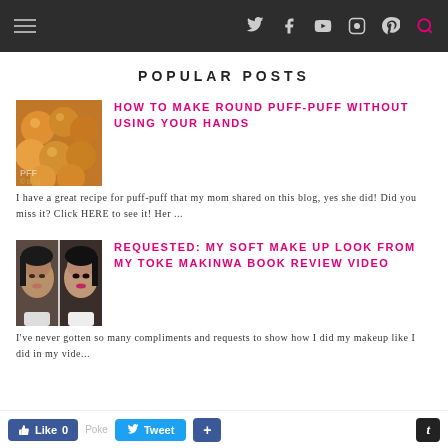Navigation bar with hamburger menu and social icons: Twitter, Facebook, YouTube, Instagram, Pinterest, Search
POPULAR POSTS
[Figure (photo): Photo of round puff-puff (fried dough balls) on a plate]
HOW TO MAKE ROUND PUFF-PUFF WITHOUT USING YOUR HANDS
I have a great recipe for puff-puff that my mom shared on this blog, yes she did! Did you miss it? Click HERE to see it! Her ...
[Figure (photo): Split photo showing a woman's face before and after makeup]
REQUESTED: MY SOFT MAKE UP LOOK FROM MY TOKE MAKINWA BOOK REVIEW VIDEO
I've never gotten so many compliments and requests to show how I did my makeup like I did in my vide...
Like 0  Tweet  +  t